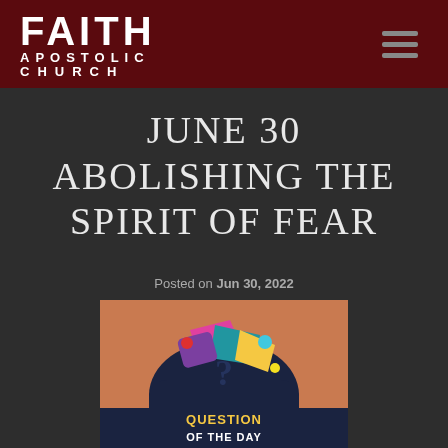FAITH APOSTOLIC CHURCH
JUNE 30 ABOLISHING THE SPIRIT OF FEAR
Posted on Jun 30, 2022
[Figure (illustration): Question of the Day graphic: a colorful bag/purse with geometric shapes and a question mark, with the text QUESTION OF THE DAY on a dark background banner]